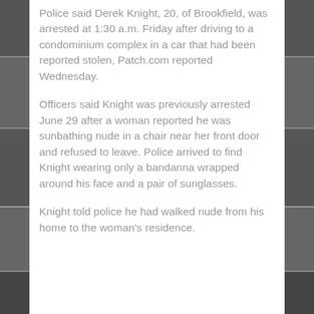Police said Derek Knight, 20, of Brookfield, was arrested at 1:30 a.m. Friday after driving to a condominium complex in a car that had been reported stolen, Patch.com reported Wednesday.
Officers said Knight was previously arrested June 29 after a woman reported he was sunbathing nude in a chair near her front door and refused to leave. Police arrived to find Knight wearing only a bandanna wrapped around his face and a pair of sunglasses.
Knight told police he had walked nude from his home to the woman's residence.